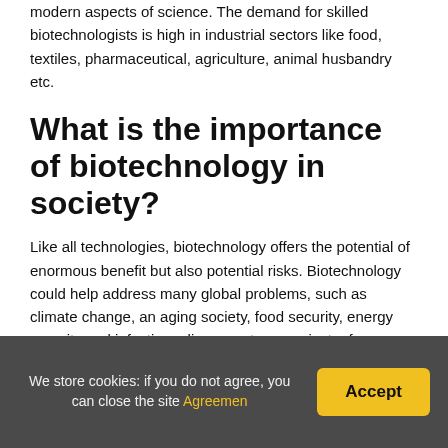modern aspects of science. The demand for skilled biotechnologists is high in industrial sectors like food, textiles, pharmaceutical, agriculture, animal husbandry etc.
What is the importance of biotechnology in society?
Like all technologies, biotechnology offers the potential of enormous benefit but also potential risks. Biotechnology could help address many global problems, such as climate change, an aging society, food security, energy security and infectious diseases, to name just a few.
What is biotechnology and its
We store cookies: if you do not agree, you can close the site Agreemen